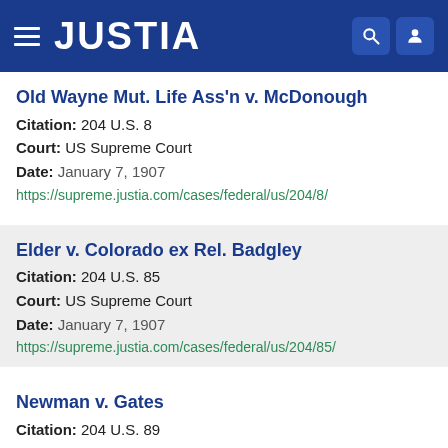JUSTIA
Old Wayne Mut. Life Ass'n v. McDonough
Citation: 204 U.S. 8
Court: US Supreme Court
Date: January 7, 1907
https://supreme.justia.com/cases/federal/us/204/8/
Elder v. Colorado ex Rel. Badgley
Citation: 204 U.S. 85
Court: US Supreme Court
Date: January 7, 1907
https://supreme.justia.com/cases/federal/us/204/85/
Newman v. Gates
Citation: 204 U.S. 89
Court: US Supreme Court